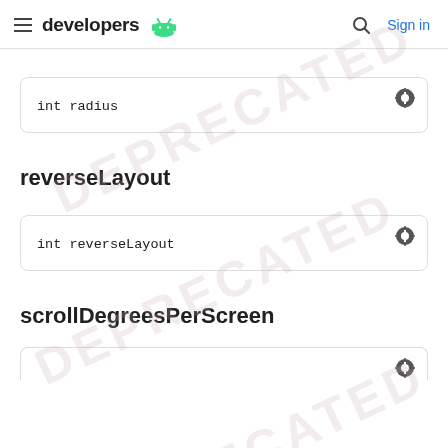developers
int radius
reverseLayout
int reverseLayout
scrollDegreesPerScreen